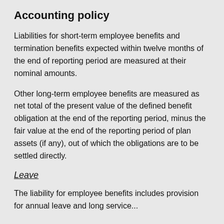Accounting policy
Liabilities for short-term employee benefits and termination benefits expected within twelve months of the end of reporting period are measured at their nominal amounts.
Other long-term employee benefits are measured as net total of the present value of the defined benefit obligation at the end of the reporting period, minus the fair value at the end of the reporting period of plan assets (if any), out of which the obligations are to be settled directly.
Leave
The liability for employee benefits includes provision for annual leave and long service...